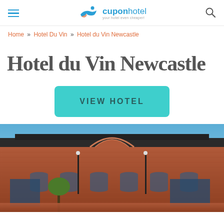cuponhotel — your hotel even cheaper!
Home » Hotel Du Vin » Hotel du Vin Newcastle
Hotel du Vin Newcastle
VIEW HOTEL
[Figure (photo): Exterior of Hotel du Vin Newcastle — a Victorian red-brick building with ornate gabled facade under a blue sky]